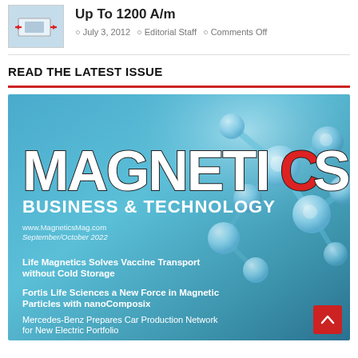[Figure (photo): Thumbnail image of a device/magnet illustration with red arrows on blue background]
Up To 1200 A/m
July 3, 2012  Editorial Staff  Comments Off
READ THE LATEST ISSUE
[Figure (photo): Cover of Magnetics Business & Technology magazine, September/October 2022. Blue background with molecular/atomic ball-and-stick structures. Headlines: Life Magnetics Solves Vaccine Transport without Cold Storage; Fortis Life Sciences a New Force in Magnetic Particles with nanoComposix; Mercedes-Benz Prepares Car Production Network for New Electric Portfolio; Using Magnets to Control Breathalyzing...]